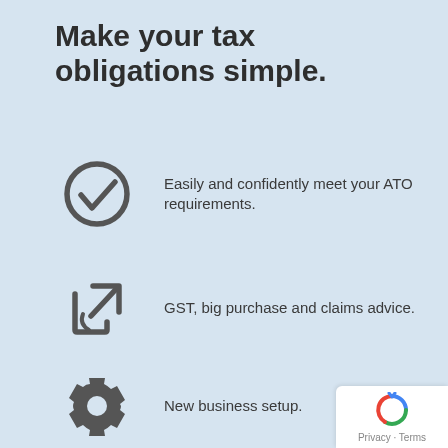Make your tax obligations simple.
Easily and confidently meet your ATO requirements.
GST, big purchase and claims advice.
New business setup.
[Figure (logo): Privacy - Terms reCAPTCHA badge]